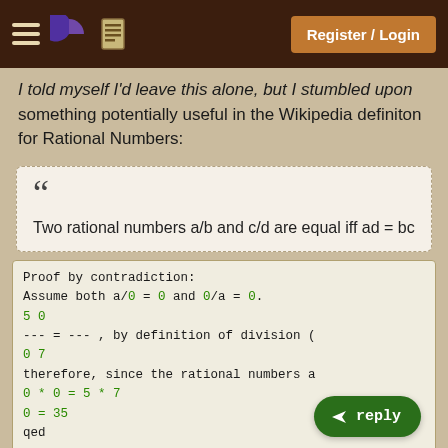Register / Login
I told myself I'd leave this alone, but I stumbled upon something potentially useful in the Wikipedia definiton for Rational Numbers:
" " Two rational numbers a/b and c/d are equal iff ad = bc
Proof by contradiction:
Assume both a/0 = 0 and 0/a = 0.
5 0
--- = --- , by definition of division (
0 7
therefore, since the rational numbers a
0 * 0 = 5 * 7
0 = 35
qed